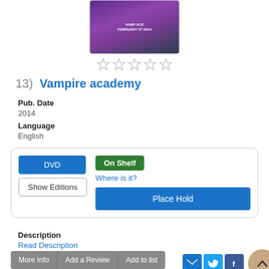[Figure (photo): Movie cover image for Vampire Academy, purple themed with text 'FEBRUARY 07 2014']
[Figure (other): 5 empty star rating icons]
13)  Vampire academy
Pub. Date
2014
Language
English
DVD | On Shelf | Where is it? | Show Editions | Place Hold
Description
Read Description
More Info | Add a Review | Add to list
[Figure (other): Email, Twitter, and Facebook social share icons plus scroll-to-top button]
[Figure (photo): Second movie cover image at bottom, dark themed Hallmark-style]